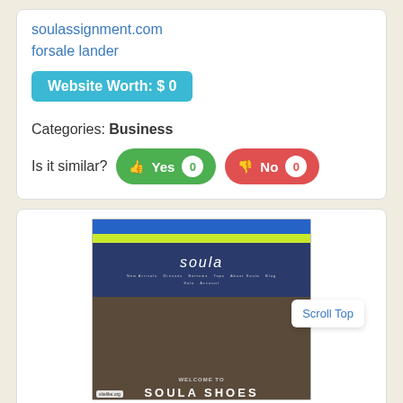soulassignment.com
forsale lander
Website Worth: $ 0
Categories: Business
Is it similar? Yes 0  No 0
[Figure (screenshot): Screenshot of soula shoes website showing the soula brand nav header with blue topbar, yellow notification bar, navy navigation, and hero image of a brick building storefront with text WELCOME TO SOULA SHOES. Scroll Top button overlays the screenshot. sitelike.org watermark at bottom left.]
Like 0